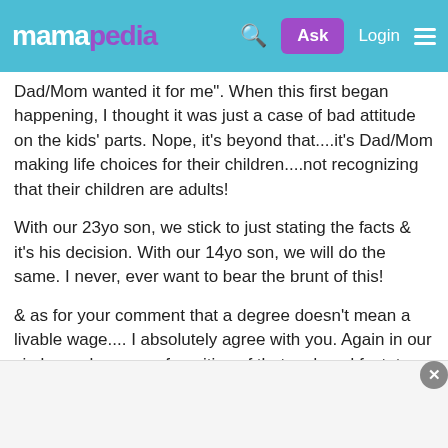mamapedia  Ask  Login
Dad/Mom wanted it for me". When this first began happening, I thought it was just a case of bad attitude on the kids' parts. Nope, it's beyond that....it's Dad/Mom making life choices for their children....not recognizing that their children are adults!
With our 23yo son, we stick to just stating the facts & it's his decision. With our 14yo son, we will do the same. I never, ever want to bear the brunt of this!
& as for your comment that a degree doesn't mean a livable wage.... I absolutely agree with you. Again in our circle, we have proof-positive of that sad, sad fact: two or our nieces graduated as RNs. Both live in a major city. One found a hospital job after 8 months of looking....with no offers prior. The other is now at 1 year with no job offers. RNs!! Another niece graduated in Dec '09 with a degree in Biology. After 6 months of not a single interview, she made the decision to return to